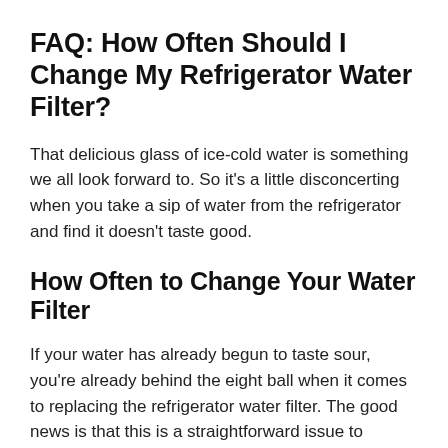FAQ: How Often Should I Change My Refrigerator Water Filter?
That delicious glass of ice-cold water is something we all look forward to. So it’s a little disconcerting when you take a sip of water from the refrigerator and find it doesn’t taste good.
How Often to Change Your Water Filter
If your water has already begun to taste sour, you’re already behind the eight ball when it comes to replacing the refrigerator water filter. The good news is that this is a straightforward issue to resolve. When considering the question